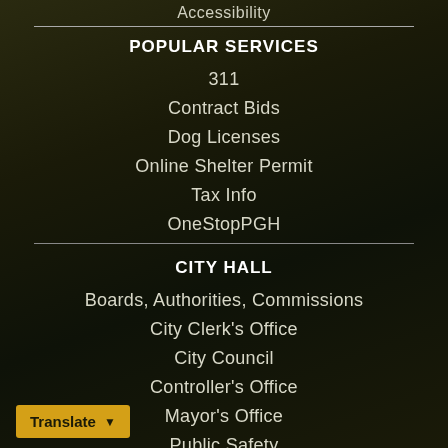Accessibility
POPULAR SERVICES
311
Contract Bids
Dog Licenses
Online Shelter Permit
Tax Info
OneStopPGH
CITY HALL
Boards, Authorities, Commissions
City Clerk's Office
City Council
Controller's Office
Mayor's Office
Public Safety